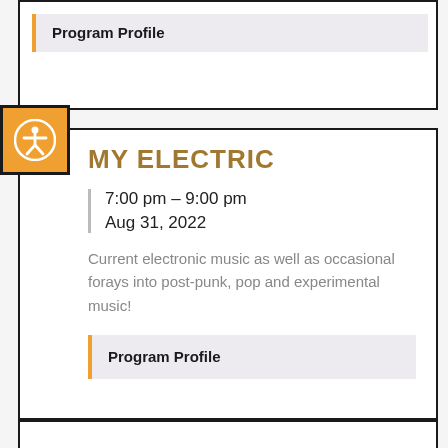Program Profile
MY ELECTRIC
7:00 pm – 9:00 pm
Aug 31, 2022
Current electronic music as well as occasional forays into post-punk, pop and experimental music!
Program Profile